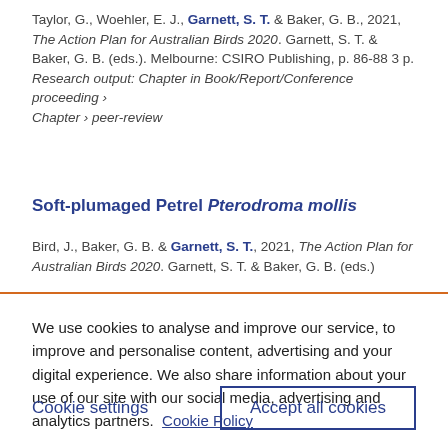Taylor, G., Woehler, E. J., Garnett, S. T. & Baker, G. B., 2021, The Action Plan for Australian Birds 2020. Garnett, S. T. & Baker, G. B. (eds.). Melbourne: CSIRO Publishing, p. 86-88 3 p. Research output: Chapter in Book/Report/Conference proceeding › Chapter › peer-review
Soft-plumaged Petrel Pterodroma mollis
Bird, J., Baker, G. B. & Garnett, S. T., 2021, The Action Plan for Australian Birds 2020. Garnett, S. T. & Baker, G. B. (eds.)
We use cookies to analyse and improve our service, to improve and personalise content, advertising and your digital experience. We also share information about your use of our site with our social media, advertising and analytics partners.  Cookie Policy
Cookie settings
Accept all cookies